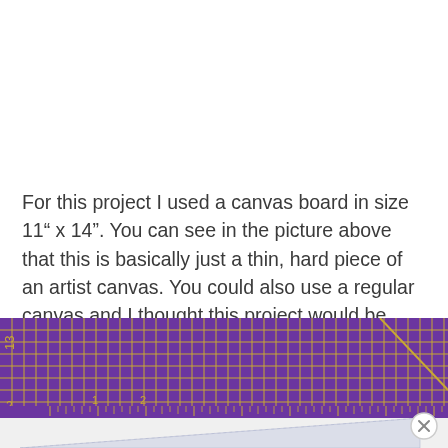For this project I used a canvas board in size 11" x 14". You can see in the picture above that this is basically just a thin, hard piece of an artist canvas. You could also use a regular canvas and I thought this project would be really neat on some old, reclaimed wood. Again, it's totally up to you.
[Figure (photo): A purple quilting/craft ruler with gold grid lines showing measurements. A white canvas board edge and a triangular clear plastic tool are visible underneath the ruler.]